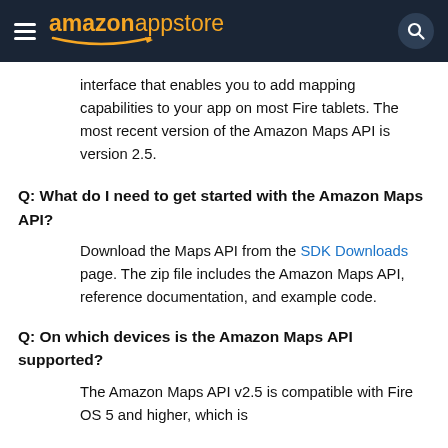amazon appstore
interface that enables you to add mapping capabilities to your app on most Fire tablets. The most recent version of the Amazon Maps API is version 2.5.
Q: What do I need to get started with the Amazon Maps API?
Download the Maps API from the SDK Downloads page. The zip file includes the Amazon Maps API, reference documentation, and example code.
Q: On which devices is the Amazon Maps API supported?
The Amazon Maps API v2.5 is compatible with Fire OS 5 and higher, which is